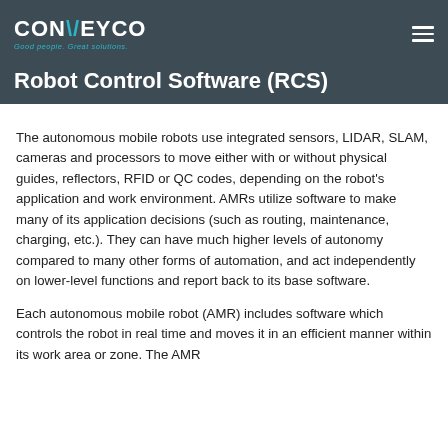CONVEYCO — Good people. Great solutions.
Robot Control Software (RCS)
The autonomous mobile robots use integrated sensors, LIDAR, SLAM, cameras and processors to move either with or without physical guides, reflectors, RFID or QC codes, depending on the robot's application and work environment. AMRs utilize software to make many of its application decisions (such as routing, maintenance, charging, etc.). They can have much higher levels of autonomy compared to many other forms of automation, and act independently on lower-level functions and report back to its base software.
Each autonomous mobile robot (AMR) includes software which controls the robot in real time and moves it in an efficient manner within its work area or zone. The AMR